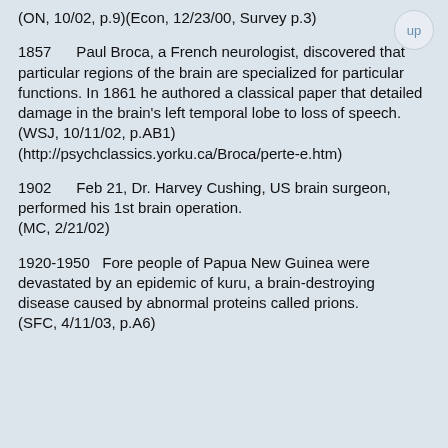(ON, 10/02, p.9)(Econ, 12/23/00, Survey p.3)
1857      Paul Broca, a French neurologist, discovered that particular regions of the brain are specialized for particular functions. In 1861 he authored a classical paper that detailed damage in the brain's left temporal lobe to loss of speech.
    (WSJ, 10/11/02, p.AB1)
(http://psychclassics.yorku.ca/Broca/perte-e.htm)
1902      Feb 21, Dr. Harvey Cushing, US brain surgeon, performed his 1st brain operation.
    (MC, 2/21/02)
1920-1950   Fore people of Papua New Guinea were devastated by an epidemic of kuru, a brain-destroying disease caused by abnormal proteins called prions.
    (SFC, 4/11/03, p.A6)